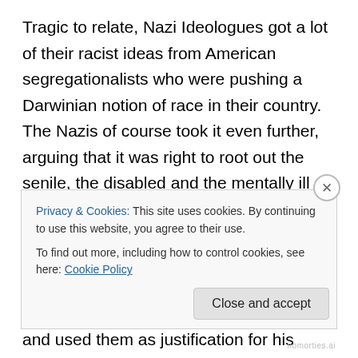Tragic to relate, Nazi Ideologues got a lot of their racist ideas from American segregationalists who were pushing a Darwinian notion of race in their country. The Nazis of course took it even further, arguing that it was right to root out the senile, the disabled and the mentally ill from their population on the grounds that if they were to be allowed to live they would pass on their defective genes to the race. And we don't need to even begin to go into how Hitler took Darwinian ideas and used them as justification for his whole vision of Master and Slave Races, the ultimate proof of which was the ability of the Master Race
Privacy & Cookies: This site uses cookies. By continuing to use this website, you agree to their use.
To find out more, including how to control cookies, see here: Cookie Policy
Close and accept
nomorties.ai